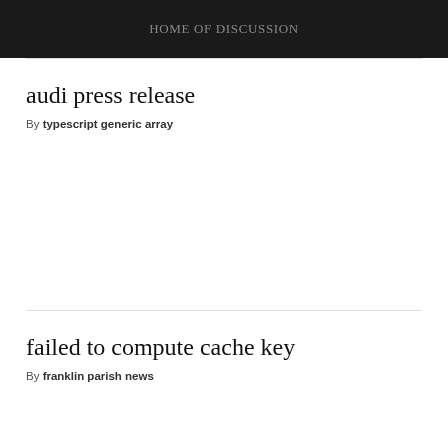HOME OF DISCUSSION
audi press release
By typescript generic array
failed to compute cache key
By franklin parish news
mymail contact phone number